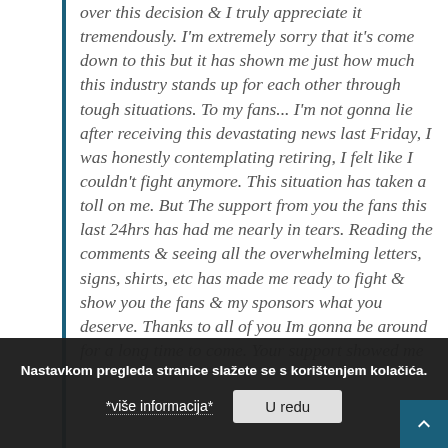over this decision & I truly appreciate it tremendously. I'm extremely sorry that it's come down to this but it has shown me just how much this industry stands up for each other through tough situations. To my fans... I'm not gonna lie after receiving this devastating news last Friday, I was honestly contemplating retiring, I felt like I couldn't fight anymore. This situation has taken a toll on me. But The support from you the fans this last 24hrs has had me nearly in tears. Reading the comments & seeing all the overwhelming letters, signs, shirts, etc has made me ready to fight & show you the fans & my sponsors what you deserve. Thanks to all of you Im gonna be around for a long time to come. Your support showed me how much you guys appreciate me so much that being said, it gonna take a lot more then this to run me
Nastavkom pregleda stranice slažete se s korištenjem kolačića.
*više informacija*
U redu